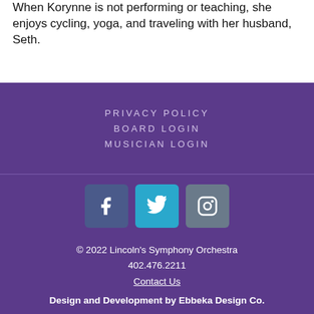When Korynne is not performing or teaching, she enjoys cycling, yoga, and traveling with her husband, Seth.
PRIVACY POLICY
BOARD LOGIN
MUSICIAN LOGIN
[Figure (other): Social media icons: Facebook, Twitter, Instagram]
© 2022 Lincoln's Symphony Orchestra
402.476.2211
Contact Us
Design and Development by Ebbeka Design Co.